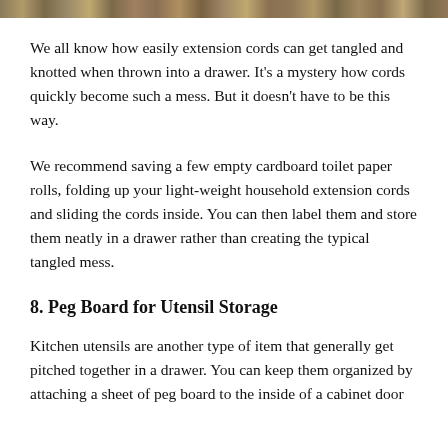[Figure (photo): Decorative image strip at top of page showing a textured or natural scene]
We all know how easily extension cords can get tangled and knotted when thrown into a drawer. It's a mystery how cords quickly become such a mess. But it doesn't have to be this way.
We recommend saving a few empty cardboard toilet paper rolls, folding up your light-weight household extension cords and sliding the cords inside. You can then label them and store them neatly in a drawer rather than creating the typical tangled mess.
8. Peg Board for Utensil Storage
Kitchen utensils are another type of item that generally get pitched together in a drawer. You can keep them organized by attaching a sheet of peg board to the inside of a cabinet door